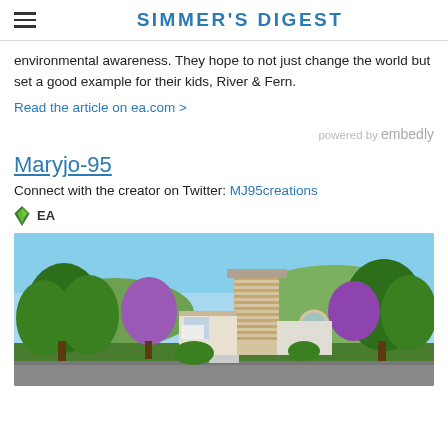SIMMER'S DIGEST
environmental awareness. They hope to not just change the world but set a good example for their kids, River & Fern.
Read the article on ea.com >
powered by embedly
Maryjo-95
Connect with the creator on Twitter: MJ95creations
EA
[Figure (screenshot): The Sims 4 screenshot showing a modern multi-story house surrounded by lush green trees and purple flowering trees, with a blue sky background.]